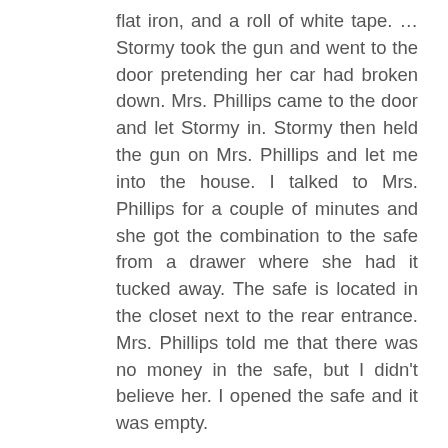flat iron, and a roll of white tape. … Stormy took the gun and went to the door pretending her car had broken down. Mrs. Phillips came to the door and let Stormy in. Stormy then held the gun on Mrs. Phillips and let me into the house. I talked to Mrs. Phillips for a couple of minutes and she got the combination to the safe from a drawer where she had it tucked away. The safe is located in the closet next to the rear entrance. Mrs. Phillips told me that there was no money in the safe, but I didn't believe her. I opened the safe and it was empty.
While I was opening the safe I heard a shot and went back to the bedroom where Stormy had taken Mrs. Phillips.
Mrs. Phillips was struggling with Stormy but stopped when I came into the room. We attempted to get her to lie down on the bed and stop struggling long enough to tie her up. She continued to fight so I hit her with the homemade